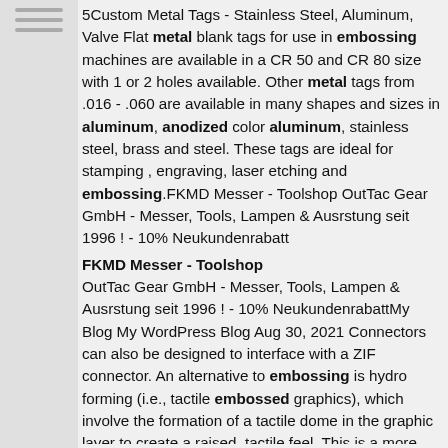5Custom Metal Tags - Stainless Steel, Aluminum, Valve Flat metal blank tags for use in embossing machines are available in a CR 50 and CR 80 size with 1 or 2 holes available. Other metal tags from .016 - .060 are available in many shapes and sizes in aluminum, anodized color aluminum, stainless steel, brass and steel. These tags are ideal for stamping , engraving, laser etching and embossing.FKMD Messer - Toolshop OutTac Gear GmbH - Messer, Tools, Lampen & Ausrstung seit 1996 ! - 10% Neukundenrabatt
FKMD Messer - Toolshop
OutTac Gear GmbH - Messer, Tools, Lampen & Ausrstung seit 1996 ! - 10% NeukundenrabattMy Blog My WordPress Blog Aug 30, 2021 Connectors can also be designed to interface with a ZIF connector. An alternative to embossing is hydro forming (i.e., tactile embossed graphics), which involve the formation of a tactile dome in the graphic layer to create a raised, tactile feel. This is a more costly alternative that involves tooling and longer setup/cycle times.Gifts and Premiums - Digital Edition March 2012 Promotional luggage tags Safety features novelty motifs improve selection Sourcing center Rich resources bolster Dongguan gift packaging line page 173 HUNAN JIANGXI FUJIAN Jiaoling Shauguan Fengshun GUANGXI G U A N G D O N G Guangzhou Huizhou